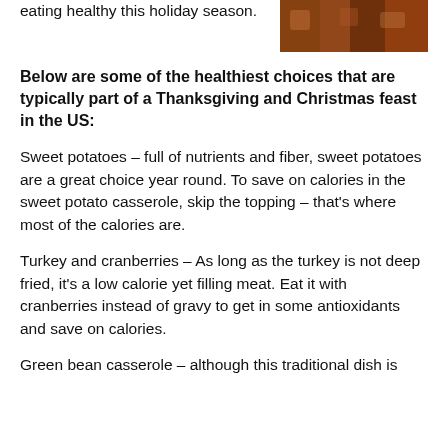eating healthy this holiday season.
[Figure (photo): A photo of holiday food, brown/warm tones]
Below are some of the healthiest choices that are typically part of a Thanksgiving and Christmas feast in the US:
Sweet potatoes – full of nutrients and fiber, sweet potatoes are a great choice year round. To save on calories in the sweet potato casserole, skip the topping – that's where most of the calories are.
Turkey and cranberries – As long as the turkey is not deep fried, it's a low calorie yet filling meat. Eat it with cranberries instead of gravy to get in some antioxidants and save on calories.
Green bean casserole – although this traditional dish is